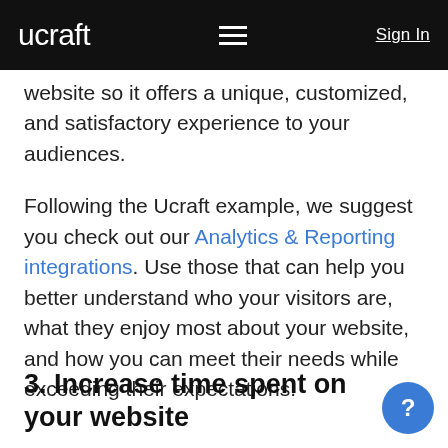ucraft  ≡  Sign In
website so it offers a unique, customized, and satisfactory experience to your audiences.
Following the Ucraft example, we suggest you check out our Analytics & Reporting integrations. Use those that can help you better understand who your visitors are, what they enjoy most about your website, and how you can meet their needs while exceeding their expectations.
3. Increase time spent on your website